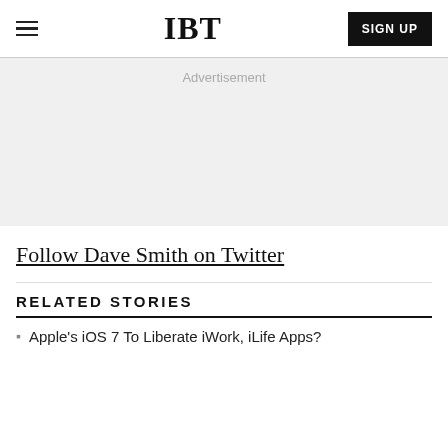IBT | SIGN UP
Advertisement
Follow Dave Smith on Twitter
RELATED STORIES
Apple's iOS 7 To Liberate iWork, iLife Apps?